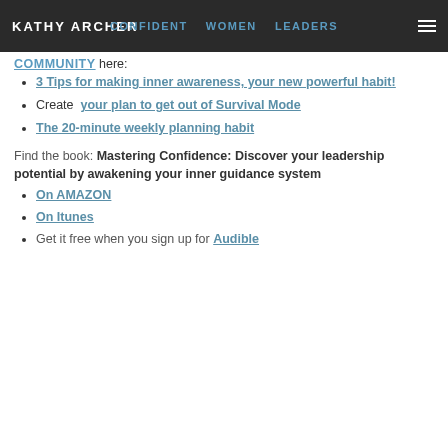KATHY ARCHER | CONFIDENT WOMEN LEADERS COMMUNITY
3 Tips for making inner awareness, your new powerful habit!
Create your plan to get out of Survival Mode
The 20-minute weekly planning habit
Find the book: Mastering Confidence: Discover your leadership potential by awakening your inner guidance system
On AMAZON
On Itunes
Get it free when you sign up for Audible